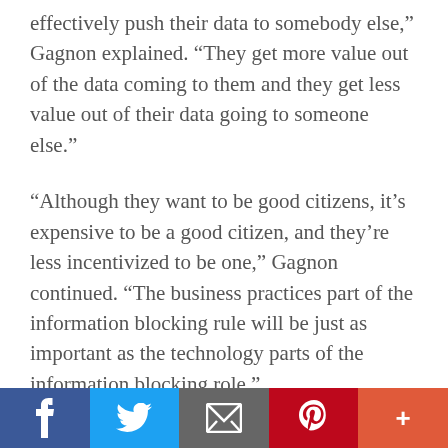effectively push their data to somebody else,” Gagnon explained. “They get more value out of the data coming to them and they get less value out of their data going to someone else.”
“Although they want to be good citizens, it’s expensive to be a good citizen, and they’re less incentivized to be one,” Gagnon continued. “The business practices part of the information blocking rule will be just as important as the technology parts of the information blocking role.”
HIEs are in a good position to facilitate